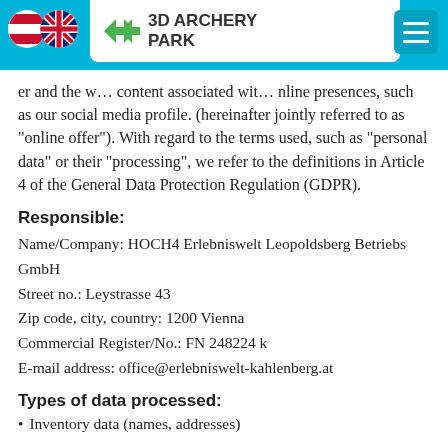3D ARCHERY PARK
er and the w... content associated with ... online presences, such as our social media profile. (hereinafter jointly referred to as "online offer"). With regard to the terms used, such as "personal data" or their "processing", we refer to the definitions in Article 4 of the General Data Protection Regulation (GDPR).
Responsible:
Name/Company: HOCH4 Erlebniswelt Leopoldsberg Betriebs GmbH
Street no.: Leystrasse 43
Zip code, city, country: 1200 Vienna
Commercial Register/No.: FN 248224 k
E-mail address: office@erlebniswelt-kahlenberg.at
Types of data processed:
Inventory data (names, addresses)